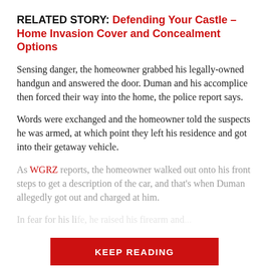RELATED STORY: Defending Your Castle – Home Invasion Cover and Concealment Options
Sensing danger, the homeowner grabbed his legally-owned handgun and answered the door. Duman and his accomplice then forced their way into the home, the police report says.
Words were exchanged and the homeowner told the suspects he was armed, at which point they left his residence and got into their getaway vehicle.
As WGRZ reports, the homeowner walked out onto his front steps to get a description of the car, and that's when Duman allegedly got out and charged at him.
In fear for his life, he raised his firearm and...
KEEP READING